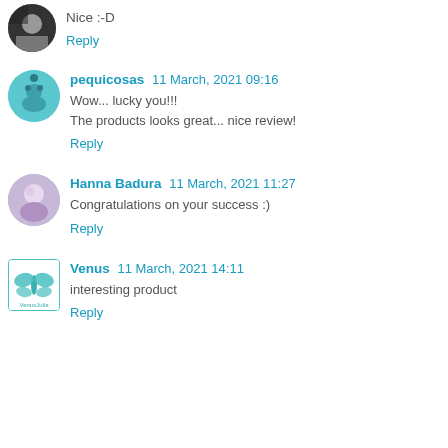Nice :-D
Reply
pequicosas  11 March, 2021 09:16
Wow... lucky you!!!
The products looks great... nice review!
Reply
Hanna Badura  11 March, 2021 11:27
Congratulations on your success :)
Reply
Venus  11 March, 2021 14:11
interesting product
Reply